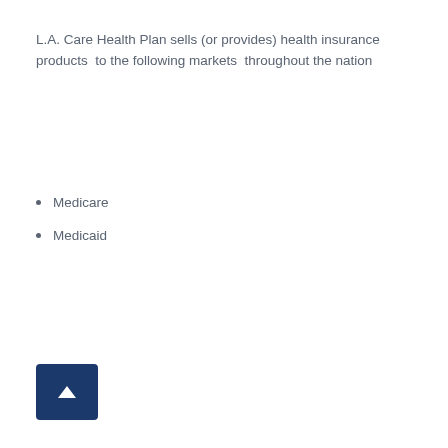L.A. Care Health Plan sells (or provides) health insurance products  to the following markets  throughout the nation
Medicare
Medicaid